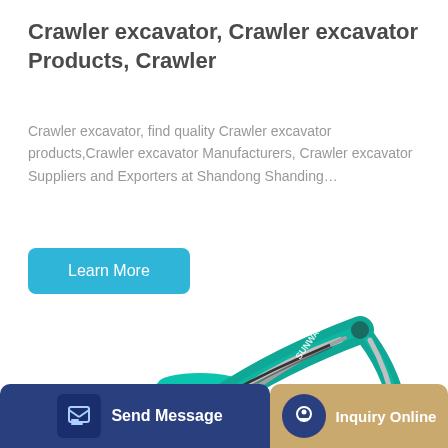Crawler excavator, Crawler excavator Products, Crawler
Crawler excavator, find quality Crawler excavator products,Crawler excavator Manufacturers, Crawler excavator Suppliers and Exporters at Shandong Shanding…
Learn More
[Figure (photo): Green Sunward crawler excavator arm and boom shown at an angle against white background]
Send Message
Inquiry Online